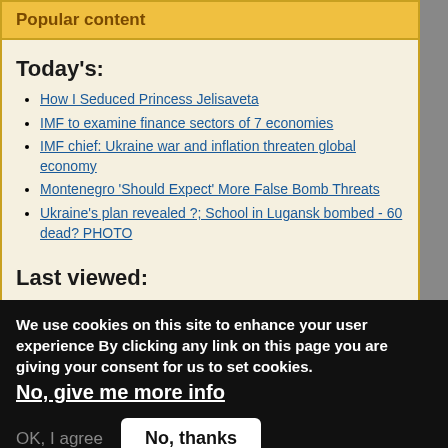Popular content
Today's:
How I Seduced Princess Jelisaveta
IMF to examine finance sectors of 7 economies
IMF chief: Ukraine war and inflation threaten global economy
Montenegro 'Should Expect' More False Bomb Threats
Ukraine's plan revealed ?; School in Lugansk bombed - 60 dead? PHOTO
Last viewed:
Hojs says possibility of early election on the table
Foreign Media: Bulgaria may Lose Millions and Not Join the Eurozone
Vučić on sanctions against Russia: Once again, he clearly announced Serbia's decision
Breakaway Mo... nsnistria Gets New PM
President of N... aria has Humiliated us more
Privacy settings
We use cookies on this site to enhance your user experience By clicking any link on this page you are giving your consent for us to set cookies. No, give me more info
OK, I agree  No, thanks